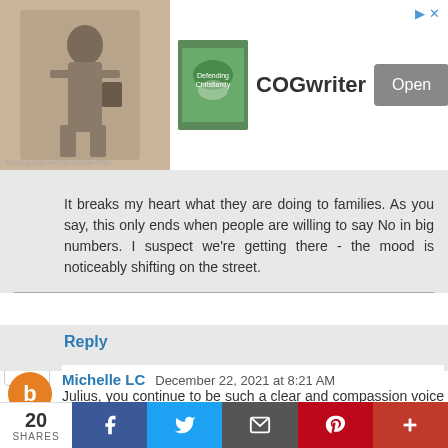[Figure (screenshot): Advertisement banner for COGwriter with religious figure image on left, book thumbnail, brand name, and Open button]
It breaks my heart what they are doing to families. As you say, this only ends when people are willing to say No in big numbers. I suspect we're getting there - the mood is noticeably shifting on the street.
Reply
Michelle LC  December 22, 2021 at 8:21 AM
Julius, you continue to be such a clear and compassion voice of reason. A breath of fresh air in the fog of fear. Thank you, my online friend.
Reply
[Figure (screenshot): Partial comment section below]
20 SHARES | Facebook | Twitter | Email | Pinterest | More